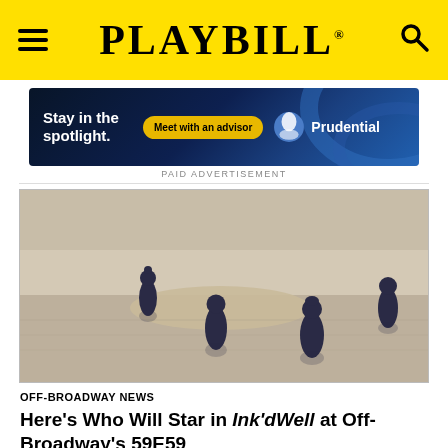PLAYBILL
[Figure (illustration): Prudential advertisement banner: 'Stay in the spotlight. Meet with an advisor. Prudential']
PAID ADVERTISEMENT
[Figure (illustration): Artistic illustration of four silhouetted figures (two adults, two children) standing waist-deep in calm, shallow water against a sandy, muted background.]
OFF-BROADWAY NEWS
Here's Who Will Star in Ink'dWell at Off-Broadway's 59E59 Theaters